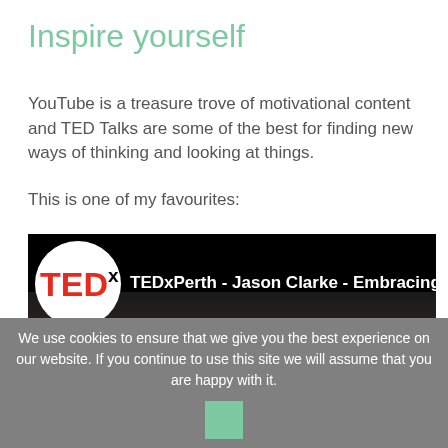Inspire yourself
YouTube is a treasure trove of motivational content and TED Talks are some of the best for finding new ways of thinking and looking at things.
This is one of my favourites:
[Figure (screenshot): YouTube video thumbnail for TEDxPerth - Jason Clarke - Embracing Change. Shows a man with glasses and grey hair on a dark background with the TEDx logo in the top-left and video title in white text.]
We use cookies to ensure that we give you the best experience on our website. If you continue to use this site we will assume that you are happy with it.